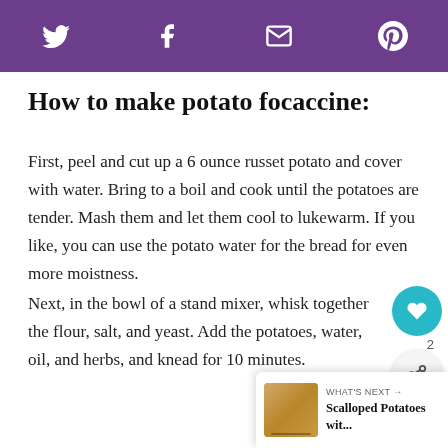Social share bar with Twitter, Facebook, Email, Pinterest icons
How to make potato focaccine:
First, peel and cut up a 6 ounce russet potato and cover with water. Bring to a boil and cook until the potatoes are tender. Mash them and let them cool to lukewarm. If you like, you can use the potato water for the bread for even more moistness.
Next, in the bowl of a stand mixer, whisk together the flour, salt, and yeast. Add the potatoes, water, oil, and herbs, and knead for 10 minutes.
[Figure (infographic): What's Next card showing Scalloped Potatoes with thumbnail image]